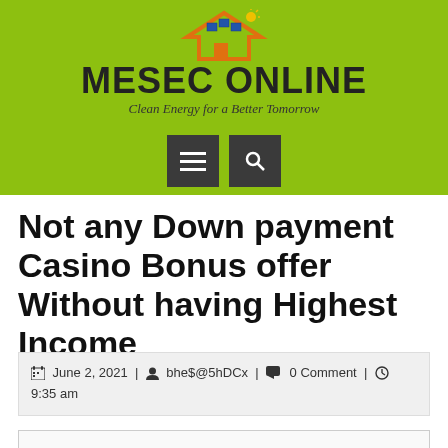MESEC ONLINE — Clean Energy for a Better Tomorrow
Not any Down payment Casino Bonus offer Without having Highest Income
June 2, 2021 | bhe$@5hDCx | 0 Comment | 9:35 am
Content